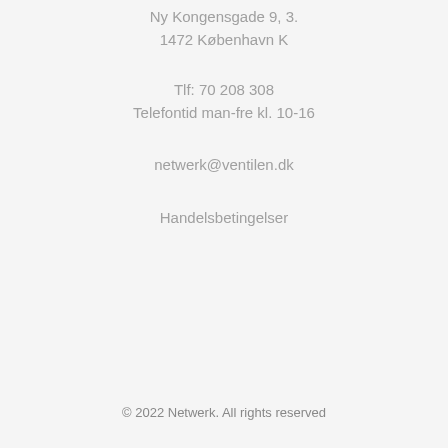Ny Kongensgade 9, 3.
1472 København K
Tlf: 70 208 308
Telefontid man-fre kl. 10-16
netwerk@ventilen.dk
Handelsbetingelser
© 2022 Netwerk. All rights reserved